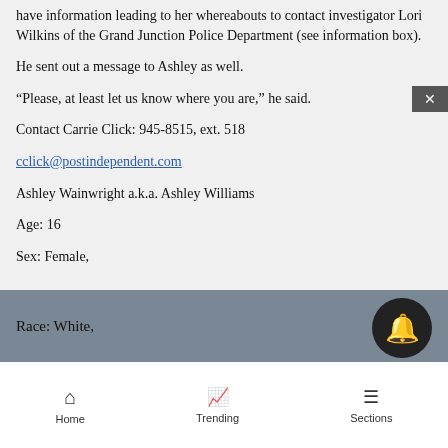have information leading to her whereabouts to contact investigator Lori Wilkins of the Grand Junction Police Department (see information box).
He sent out a message to Ashley as well.
“Please, at least let us know where you are,” he said.
Contact Carrie Click: 945-8515, ext. 518
cclick@postindependent.com
Ashley Wainwright a.k.a. Ashley Williams
Age: 16
Sex: Female,
Race: White,
Home   Trending   Sections